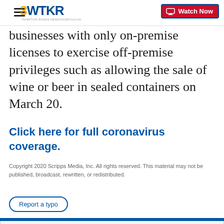3WTKR | Watch Now
businesses with only on-premise licenses to exercise off-premise privileges such as allowing the sale of wine or beer in sealed containers on March 20.
Click here for full coronavirus coverage.
Copyright 2020 Scripps Media, Inc. All rights reserved. This material may not be published, broadcast, rewritten, or redistributed.
Report a typo
Sign up for the Headlines Newsletter and receive up to date information